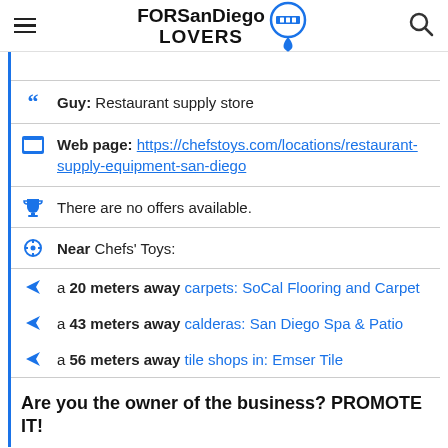FORSanDiego LOVERS
Guy: Restaurant supply store
Web page: https://chefstoys.com/locations/restaurant-supply-equipment-san-diego
There are no offers available.
Near Chefs' Toys:
a 20 meters away carpets: SoCal Flooring and Carpet
a 43 meters away calderas: San Diego Spa & Patio
a 56 meters away tile shops in: Emser Tile
Are you the owner of the business? PROMOTE IT!